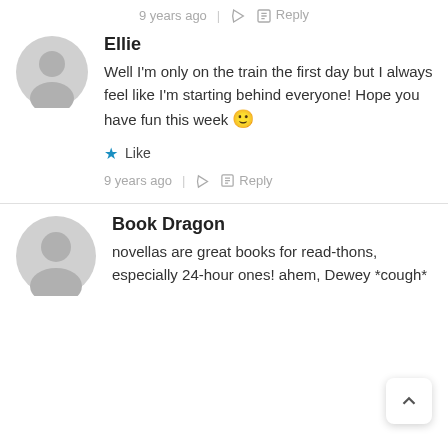9 years ago | Reply
Ellie
Well I'm only on the train the first day but I always feel like I'm starting behind everyone! Hope you have fun this week 🙂
Like
9 years ago | Reply
Book Dragon
novellas are great books for read-thons, especially 24-hour ones! ahem, Dewey *cough*